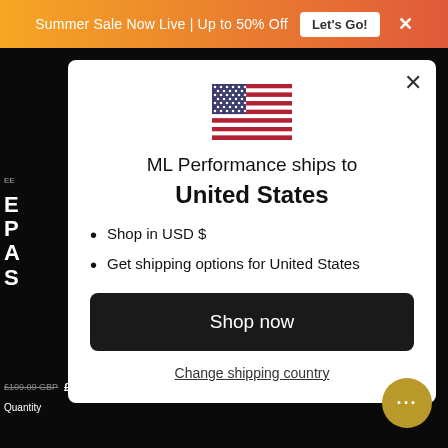Summer Sale Now Live | Up to 50% Off   Let's Go!  ×
[Figure (screenshot): US flag SVG icon centered in modal]
ML Performance ships to
United States
Shop in USD $
Get shipping options for United States
Shop now
Change shipping country
£109.09 GBP   £104.10 GBP   SALE
Quantity